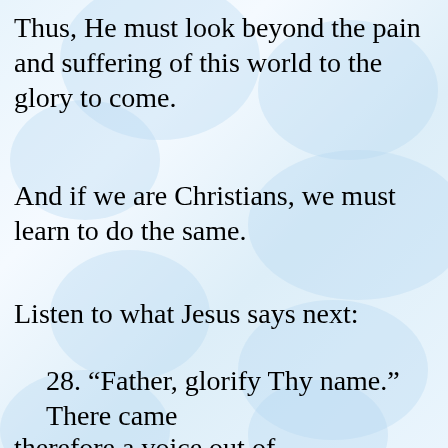Thus, He must look beyond the pain and suffering of this world to the glory to come.
And if we are Christians, we must learn to do the same.
Listen to what Jesus says next:
28. “Father, glorify Thy name.” There came therefore a voice out of